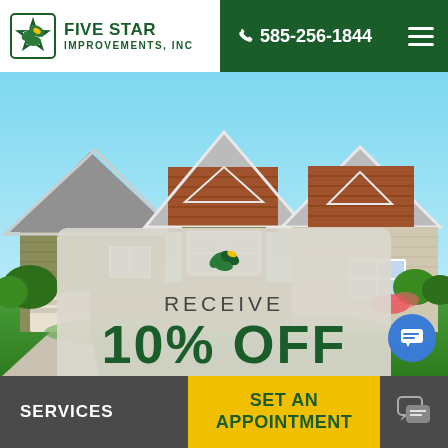Five Star Improvements, Inc — 585-256-1844
[Figure (photo): Photo of two residential craftsman-style houses with cedar shake siding and white trim, set against a blue sky with green landscaping]
RECEIVE
10% OFF
A Window Replacement Project
SERVICES | SET AN APPOINTMENT